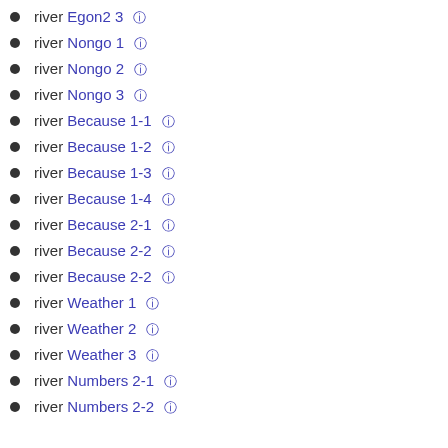river Egon2 3 🔗
river Nongo 1 🔗
river Nongo 2 🔗
river Nongo 3 🔗
river Because 1-1 🔗
river Because 1-2 🔗
river Because 1-3 🔗
river Because 1-4 🔗
river Because 2-1 🔗
river Because 2-2 🔗
river Because 2-2 🔗
river Weather 1 🔗
river Weather 2 🔗
river Weather 3 🔗
river Numbers 2-1 🔗
river Numbers 2-2 🔗